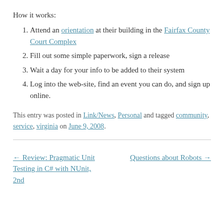How it works:
Attend an orientation at their building in the Fairfax County Court Complex
Fill out some simple paperwork, sign a release
Wait a day for your info to be added to their system
Log into the web-site, find an event you can do, and sign up online.
This entry was posted in Link/News, Personal and tagged community, service, virginia on June 9, 2008.
← Review: Pragmatic Unit Testing in C# with NUnit, 2nd
Questions about Robots →